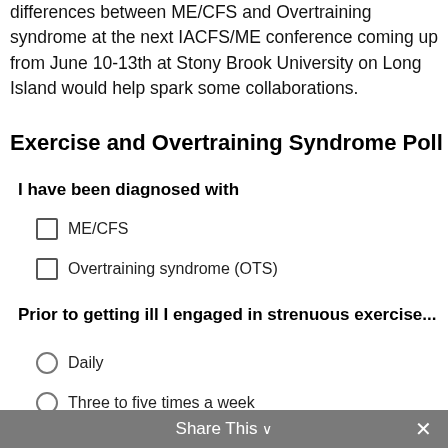differences between ME/CFS and Overtraining syndrome at the next IACFS/ME conference coming up from June 10-13th at Stony Brook University on Long Island would help spark some collaborations.
Exercise and Overtraining Syndrome Poll
I have been diagnosed with
ME/CFS
Overtraining syndrome (OTS)
Prior to getting ill I engaged in strenuous exercise...
Daily
Three to five times a week
Once or twice a week
Share This ∨  ✕